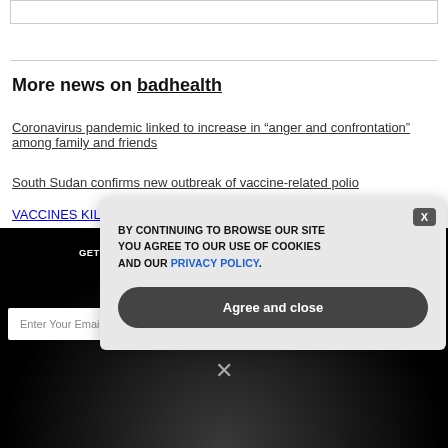[Figure (screenshot): Top border box (partial UI element)]
More news on badhealth
Coronavirus pandemic linked to increase in “anger and confrontation” among family and friends
South Sudan confirms new outbreak of vaccine-related polio
VACCINES KILL : Study finds positive correlation between COVID-19
[Figure (screenshot): Dark newsletter signup section with email input and SUBSCRIBE button, and an X close icon]
[Figure (screenshot): Cookie consent popup overlay: text BY CONTINUING TO BROWSE OUR SITE YOU AGREE TO OUR USE OF COOKIES AND OUR PRIVACY POLICY., with Agree and close button and X close button]